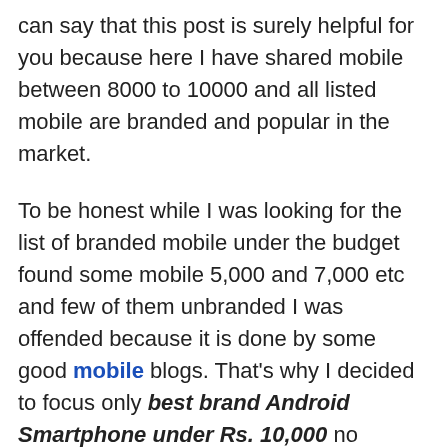can say that this post is surely helpful for you because here I have shared mobile between 8000 to 10000 and all listed mobile are branded and popular in the market.
To be honest while I was looking for the list of branded mobile under the budget found some mobile 5,000 and 7,000 etc and few of them unbranded I was offended because it is done by some good mobile blogs. That's why I decided to focus only best brand Android Smartphone under Rs. 10,000 no bullshits.
Table of Contents
1. Micromax Canvas 2.2 A114 Price: INR 9,400
1.1. Feature Specification of Micromax Canvas 2.2 A114